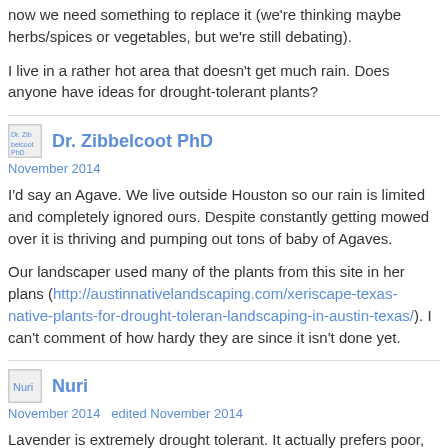now we need something to replace it (we're thinking maybe herbs/spices or vegetables, but we're still debating).
I live in a rather hot area that doesn't get much rain. Does anyone have ideas for drought-tolerant plants?
Dr. Zibbelcoot PhD
November 2014
I'd say an Agave. We live outside Houston so our rain is limited and completely ignored ours. Despite constantly getting mowed over it is thriving and pumping out tons of baby of Agaves.
Our landscaper used many of the plants from this site in her plans (http://austinnativelandscaping.com/xeriscape-texas-native-plants-for-drought-toleran-landscaping-in-austin-texas/). I can't comment of how hardy they are since it isn't done yet.
Nuri
November 2014   edited November 2014
Lavender is extremely drought tolerant. It actually prefers poor, dry soils and